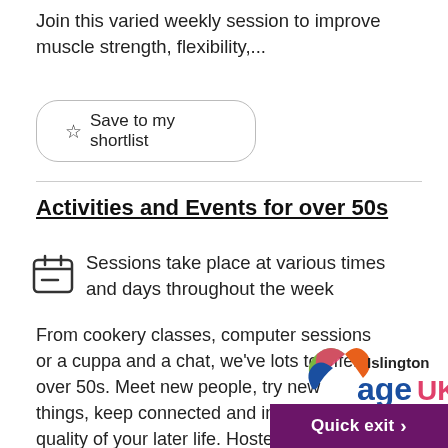Join this varied weekly session to improve muscle strength, flexibility,...
☆ Save to my shortlist
Activities and Events for over 50s
Sessions take place at various times and days throughout the week
From cookery classes, computer sessions or a cuppa and a chat, we've lots to offer over 50s. Meet new people, try new things, keep connected and improve the quality of your later life. Hosted by Age U... over the borough – many are...
[Figure (logo): Islington Age UK logo with colourful swirl and bold text]
Quick exit >